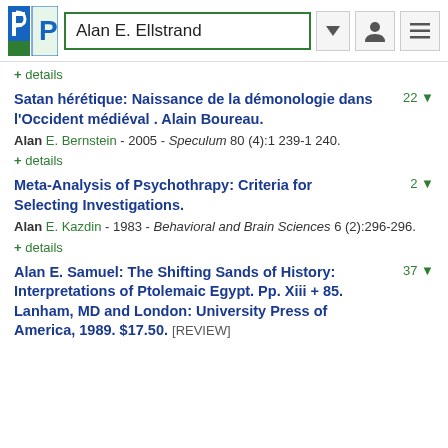Alan E. Ellstrand
+ details
Satan hérétique: Naissance de la démonologie dans l'Occident médiéval . Alain Boureau. 22
Alan E. Bernstein - 2005 - Speculum 80 (4):1239-1240.
+ details
Meta-Analysis of Psychothrapy: Criteria for Selecting Investigations. 2
Alan E. Kazdin - 1983 - Behavioral and Brain Sciences 6 (2):296-296.
+ details
Alan E. Samuel: The Shifting Sands of History: Interpretations of Ptolemaic Egypt. Pp. Xiii + 85. Lanham, MD and London: University Press of America, 1989. $17.50. [REVIEW] 37